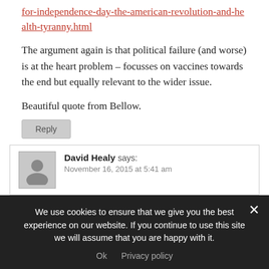for-independence-day-the-american-revolution-and-health-tyranny.html
The argument again is that political failure (and worse) is at the heart problem – focusses on vaccines towards the end but equally relevant to the wider issue.
Beautiful quote from Bellow.
Reply
David Healy says: November 16, 2015 at 5:41 am
We use cookies to ensure that we give you the best experience on our website. If you continue to use this site we will assume that you are happy with it. Ok  Privacy policy